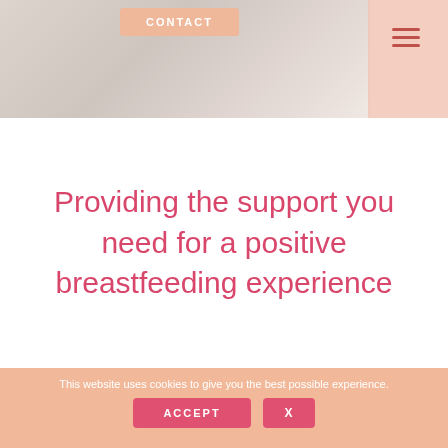[Figure (photo): Website header with soft beige/grey background photo of a person, pink contact button, and hamburger menu icon in pink/salmon colored box on right]
Providing the support you need for a positive breastfeeding experience
This website uses cookies to give you the best possible experience.
ACCEPT  X